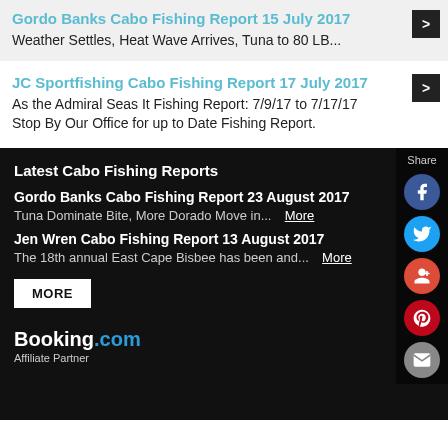Gordo Banks Cabo Fishing Report 15 July 2017
Weather Settles, Heat Wave Arrives, Tuna to 80 LB...
JC Sportfishing Cabo Fishing Report 17 July 2017
As the Admiral Seas It Fishing Report: 7/9/17 to 7/17/17 Stop By Our Office for up to Date Fishing Report.
Latest Cabo Fishing Reports
Gordo Banks Cabo Fishing Report 23 August 2017
Tuna Dominate Bite, More Dorado Move in...  More
Jen Wren Cabo Fishing Report 13 August 2017
The 18th annual East Cape Bisbee has been and...  More
MORE
[Figure (logo): Booking.com Affiliate Partner logo with white Booking and blue .com text]
Affiliate Partner